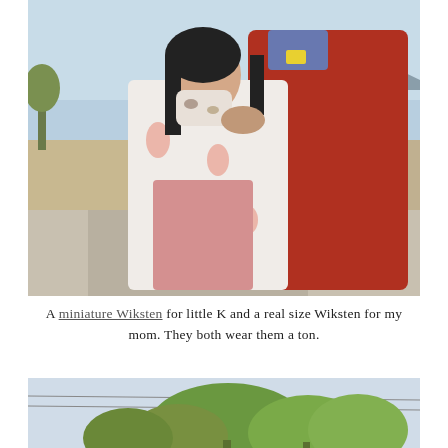[Figure (photo): A child wearing a face mask and a white kimono-style jacket with peach/pink leaf print over a pink dress, standing in front of an adult wearing a red cardigan and blue floral shirt. They are outdoors on a road with mountains in the background.]
A miniature Wiksten for little K and a real size Wiksten for my mom. They both wear them a ton.
[Figure (photo): Partial view of an outdoor scene with green trees against a light blue sky.]